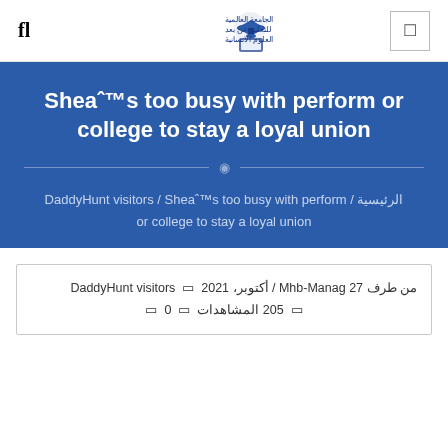fl [logo: الجامعة العالمية للتعليم عن بعد كلية العلوم الانسانية] [icon]
Sheaˆ™s too busy with perform or college to stay a loyal union
DaddyHunt visitors / Sheaˆ™s too busy with perform / الرئيسية or college to stay a loyal union
من طرف 27 Mhb-Manag / أكتوبر، 2021  DaddyHunt visitors 🔷  205 المشاهدات 🔷  0 🔷